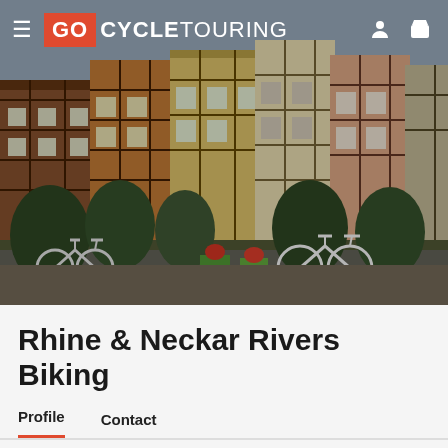GO BICYCLE TOURING
[Figure (photo): Colorful half-timbered buildings along a river canal in what appears to be Colmar, France, with bicycles parked along a stone embankment and green potted plants. Overcast sky.]
Rhine & Neckar Rivers Biking
Profile   Contact
Bookmark   Share